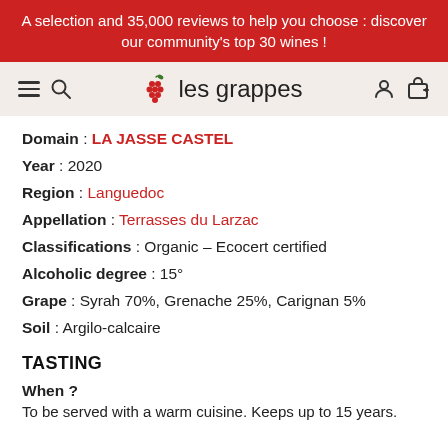A selection and 35,000 reviews to help you choose : discover our community's top 30 wines !
[Figure (logo): les grappes navigation bar with hamburger menu, search icon, grape logo, user and cart icons]
Domain : LA JASSE CASTEL
Year : 2020
Region : Languedoc
Appellation : Terrasses du Larzac
Classifications : Organic – Ecocert certified
Alcoholic degree : 15°
Grape : Syrah 70%, Grenache 25%, Carignan 5%
Soil : Argilo-calcaire
TASTING
When ?
To be served with a warm cuisine. Keeps up to 15 years.